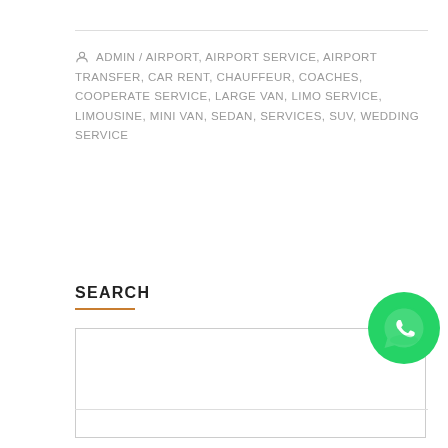ADMIN / AIRPORT, AIRPORT SERVICE, AIRPORT TRANSFER, CAR RENT, CHAUFFEUR, COACHES, COOPERATE SERVICE, LARGE VAN, LIMO SERVICE, LIMOUSINE, MINI VAN, SEDAN, SERVICES, SUV, WEDDING SERVICE
SEARCH
[Figure (logo): WhatsApp green circular button with phone/chat icon]